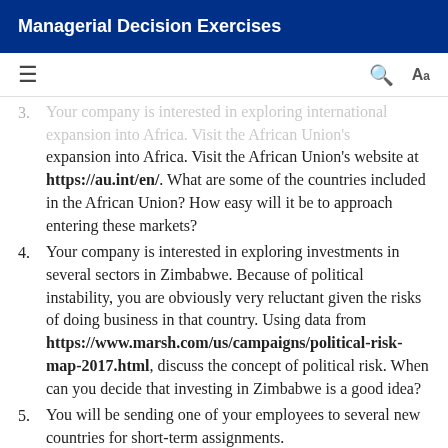Managerial Decision Exercises
Your company is interested in exploring international expansion into Africa. Visit the African Union's website at https://au.int/en/. What are some of the countries included in the African Union? How easy will it be to approach entering these markets?
Your company is interested in exploring investments in several sectors in Zimbabwe. Because of political instability, you are obviously very reluctant given the risks of doing business in that country. Using data from https://www.marsh.com/us/campaigns/political-risk-map-2017.html, discuss the concept of political risk. When can you decide that investing in Zimbabwe is a good idea?
You will be sending one of your employees to several new countries for short-term assignments.